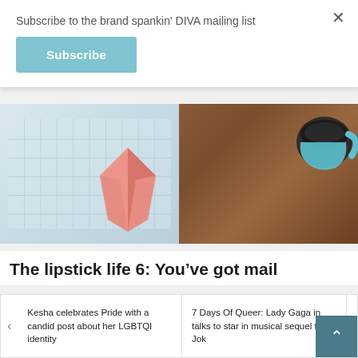Subscribe to the brand spankin' DIVA mailing list
×
Subscribe
[Figure (photo): Laptop keyboard on the left with a pink origami heart in the center, and a blue coffee mug on a wooden table surface on the right.]
The lipstick life 6: You've got mail
Kesha celebrates Pride with a candid post about her LGBTQI identity
7 Days Of Queer: Lady Gaga in talks to star in musical sequel to Jok…